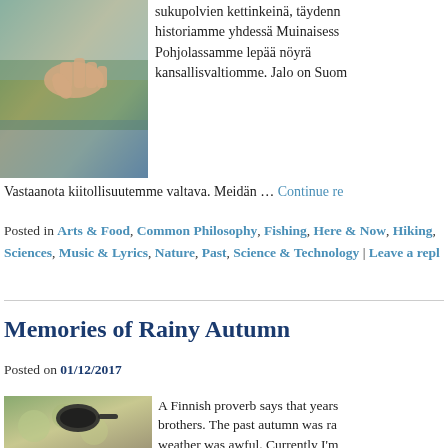[Figure (photo): Hand holding something outdoors near water and trees]
sukupolvien kettinkeinä, täydenn... historiamme yhdessä Muinaisess... Pohjolassamme lepää nöyrä kansallisvaltiomme. Jalo on Suom... Vastaanota kiitollisuutemme valtava. Meidän … Continue re...
Posted in Arts & Food, Common Philosophy, Fishing, Here & Now, Hiking, Sciences, Music & Lyrics, Nature, Past, Science & Technology | Leave a repl...
Memories of Rainy Autumn
Posted on 01/12/2017
[Figure (photo): Cast iron pan on lichen-covered rock outdoors]
A Finnish proverb says that years are brothers. The past autumn was ra... weather was awful. Currently I'm better winter, a couple of times w... nice snowy sights around here. C... Continue reading →